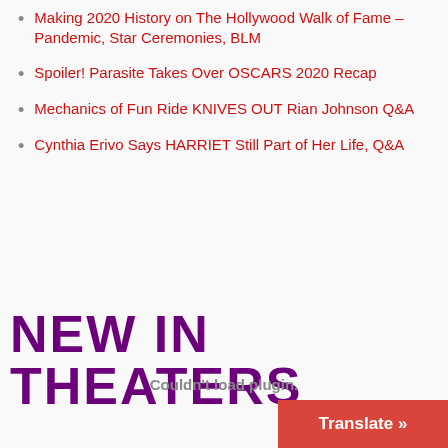Making 2020 History on The Hollywood Walk of Fame – Pandemic, Star Ceremonies, BLM
Spoiler! Parasite Takes Over OSCARS 2020 Recap
Mechanics of Fun Ride KNIVES OUT Rian Johnson Q&A
Cynthia Erivo Says HARRIET Still Part of Her Life, Q&A
NEW IN THEATERS
Couldn't load plugin.
Translate »